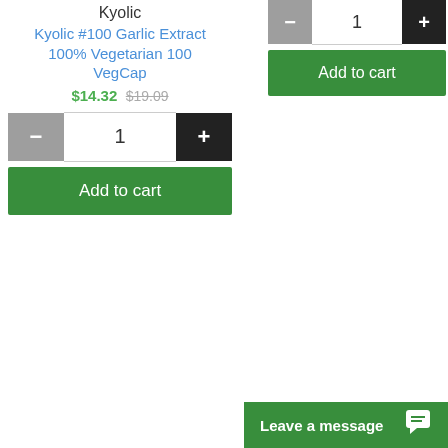Kyolic
Kyolic #100 Garlic Extract 100% Vegetarian 100 VegCap
$14.32 $19.09
[Figure (screenshot): Quantity selector with minus button (gray), quantity display showing 1, and plus button (black) — left product]
[Figure (screenshot): Add to cart green button — left product]
[Figure (screenshot): Quantity selector with minus button (gray), quantity display showing 1, and plus button (black) — right product]
[Figure (screenshot): Add to cart green button — right product]
Leave a message